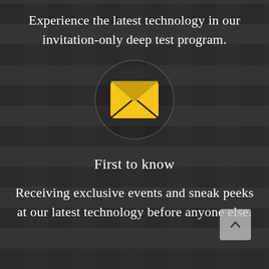Experience the latest technology in our invitation-only deep test program.
[Figure (illustration): Yellow envelope / email icon inside a circular outline, centered on a dark keyboard background]
First to know
Receiving exclusive events and sneak peeks at our latest technology before anyone else.